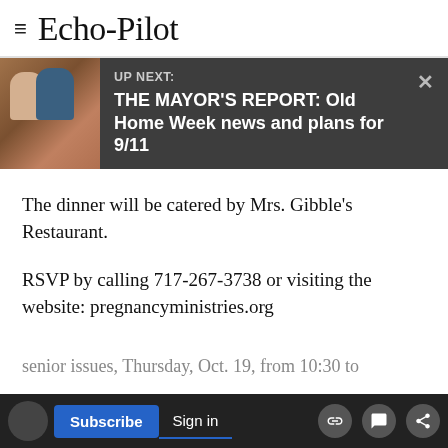Echo-Pilot
[Figure (screenshot): UP NEXT promo bar with thumbnail image of two people, title: THE MAYOR'S REPORT: Old Home Week news and plans for 9/11, with close X button]
The dinner will be catered by Mrs. Gibble's Restaurant.
RSVP by calling 717-267-3738 or visiting the website: pregnancyministries.org
Town hall on senior issues
State Rep. Paul Schemel, a Republican whose district includes Greencastle and Antrim
senior issues, Thursday, Oct. 19, from 10:30 to
[Figure (screenshot): Bottom navigation bar with Subscribe button, Sign in link, and share/link/comment icons]